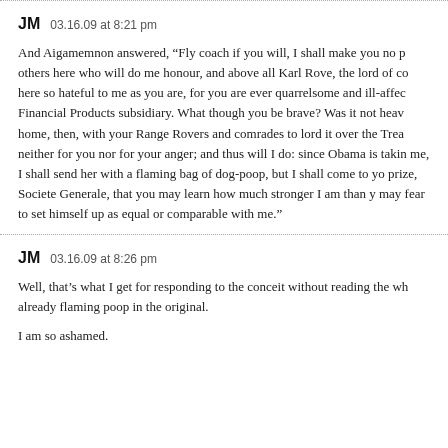JM   03.16.09 at 8:21 pm
And Aigamemnon answered, “Fly coach if you will, I shall make you no p others here who will do me honour, and above all Karl Rove, the lord of co here so hateful to me as you are, for you are ever quarrelsome and ill-affec Financial Products subsidiary. What though you be brave? Was it not heav home, then, with your Range Rovers and comrades to lord it over the Trea neither for you nor for your anger; and thus will I do: since Obama is takin me, I shall send her with a flaming bag of dog-poop, but I shall come to yo prize, Societe Generale, that you may learn how much stronger I am than y may fear to set himself up as equal or comparable with me.”
JM   03.16.09 at 8:26 pm
Well, that’s what I get for responding to the conceit without reading the wh already flaming poop in the original.
I am so ashamed.